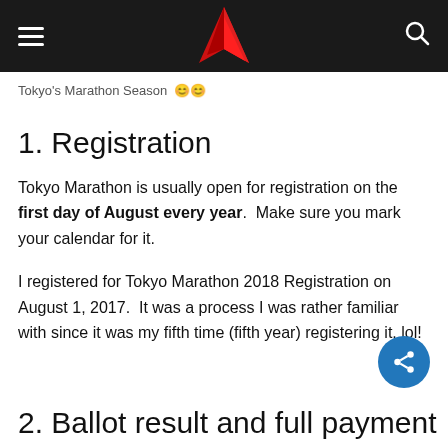Tokyo Marathon [logo and navigation]
Tokyo's Marathon Season
1. Registration
Tokyo Marathon is usually open for registration on the first day of August every year.  Make sure you mark your calendar for it.
I registered for Tokyo Marathon 2018 Registration on August 1, 2017.  It was a process I was rather familiar with since it was my fifth time (fifth year) registering it. lol!
2. Ballot result and full payment